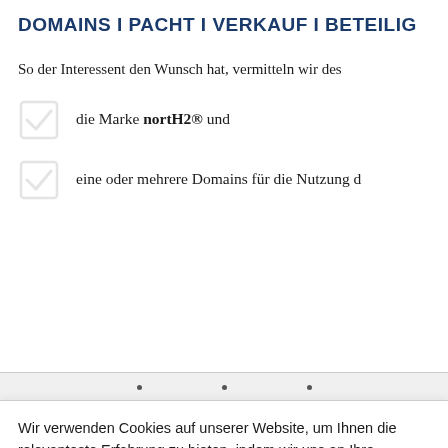DOMAINS I PACHT I VERKAUF I BETEILI...
So der Interessent den Wunsch hat, vermitteln wir des...
die Marke nortH2® und
eine oder mehrere Domains für die Nutzung d...
Wir verwenden Cookies auf unserer Website, um Ihnen die relevanteste Erfahrung zu bieten, indem wir uns an Ihre Präferenzen und wiederholten Besuche erinnern. Wenn Sie auf "Akzeptieren" klicken, stimmen Sie der Verwendung ALLER Cookies zu.
Einstellungen   Akzeptieren